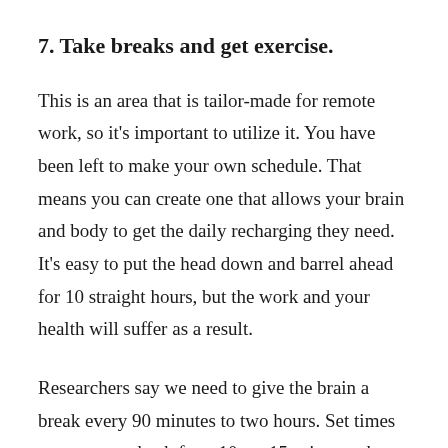7. Take breaks and get exercise.
This is an area that is tailor-made for remote work, so it's important to utilize it. You have been left to make your own schedule. That means you can create one that allows your brain and body to get the daily recharging they need. It's easy to put the head down and barrel ahead for 10 straight hours, but the work and your health will suffer as a result.
Researchers say we need to give the brain a break every 90 minutes to two hours. Set times you can step back for a 10- or 15-minute reboot. Use your breaks to build in exercise, take a walk, do some stretching, or make your lunch break an exercise